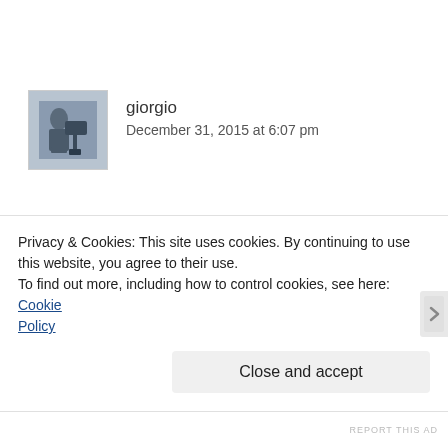[Figure (photo): Avatar photo of user giorgio, showing a person with a camera on a tripod]
giorgio
December 31, 2015 at 6:07 pm
Thank you Joel for your gifts offered to us on a daily basis. I also want to thank 2015 for having given to me the opportunity to follow you in Milan at Leica's workshop last May.
What a great human experience and honour being able to
Privacy & Cookies: This site uses cookies. By continuing to use this website, you agree to their use.
To find out more, including how to control cookies, see here: Cookie Policy
Close and accept